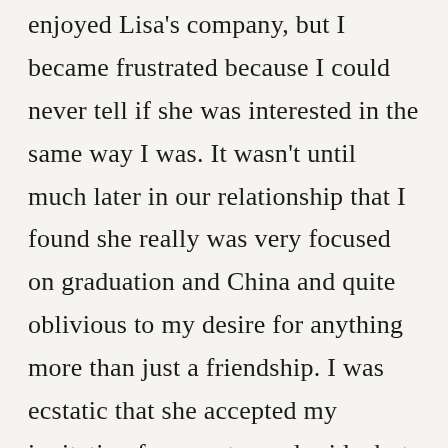enjoyed Lisa's company, but I became frustrated because I could never tell if she was interested in the same way I was. It wasn't until much later in our relationship that I found she really was very focused on graduation and China and quite oblivious to my desire for anything more than just a friendship. I was ecstatic that she accepted my invitation for a motorcycle ride, but again I felt like my expression of interest was not returned in the same way. The Sunday after Lisa's graduation we had a final college group Bible study, and I gave Lisa a graduation gift –